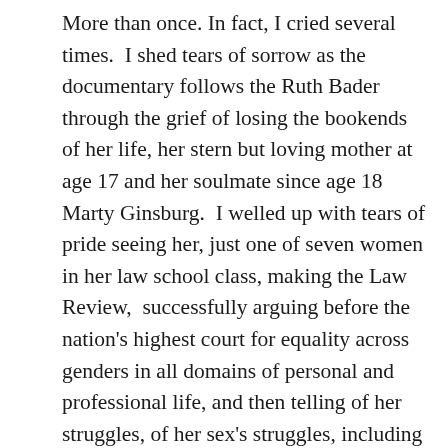More than once. In fact, I cried several times.  I shed tears of sorrow as the documentary follows the Ruth Bader through the grief of losing the bookends of her life, her stern but loving mother at age 17 and her soulmate since age 18 Marty Ginsburg.  I welled up with tears of pride seeing her, just one of seven women in her law school class, making the Law Review,  successfully arguing before the nation's highest court for equality across genders in all domains of personal and professional life, and then telling of her struggles, of her sex's struggles, including the struggle to exercise control over our own bodies before the Senate Judiciary Committee when she was under consideration for a seat on that same court. I cried the happy tears inspired by true love and affection. First, there was the adoration in Joe Biden's eyes as